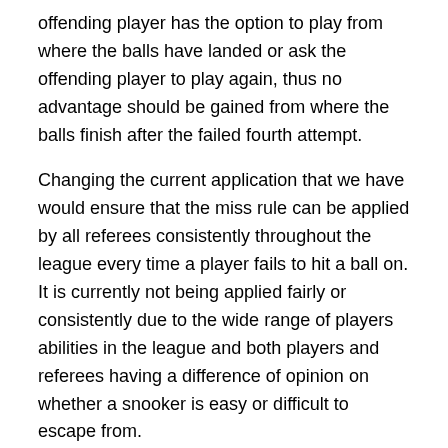offending player has the option to play from where the balls have landed or ask the offending player to play again, thus no advantage should be gained from where the balls finish after the failed fourth attempt.
Changing the current application that we have would ensure that the miss rule can be applied by all referees consistently throughout the league every time a player fails to hit a ball on. It is currently not being applied fairly or consistently due to the wide range of players abilities in the league and both players and referees having a difference of opinion on whether a snooker is easy or difficult to escape from.
We would welcome any thoughts or alternative proposals that you may wish to put forward on this prior to the proposal being finalised and voted upon at the AGM.